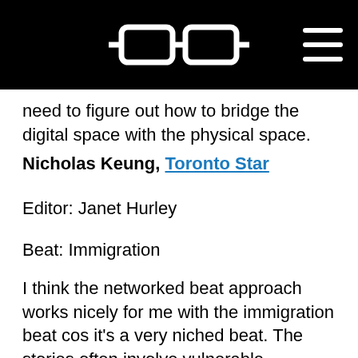[Figure (logo): Black header bar with white glasses/spectacles logo icon centered and a hamburger menu icon in the top right corner]
need to figure out how to bridge the digital space with the physical space.
Nicholas Keung, Toronto Star
Editor: Janet Hurley
Beat: Immigration
I think the networked beat approach works nicely for me with the immigration beat cos it's a very niched beat. The stories often involve vulnerable migrants and refugees who do not have full rights in Canada. Many of them are unfamiliar with how the media works, or their stories had to...